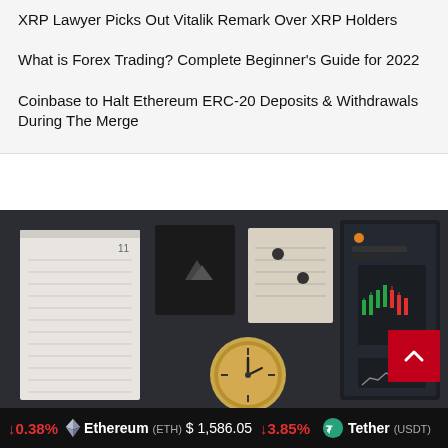XRP Lawyer Picks Out Vitalik Remark Over XRP Holders
What is Forex Trading? Complete Beginner's Guide for 2022
Coinbase to Halt Ethereum ERC-20 Deposits & Withdrawals During The Merge
[Figure (photo): A dark background desk scene with a calendar, analog clock, sticky notes, and a laptop screen showing a cryptocurrency trading chart (candlestick chart).]
↓0.38%   Ethereum (ETH) $1,586.05   ↓3.85%   Tether (USDT)